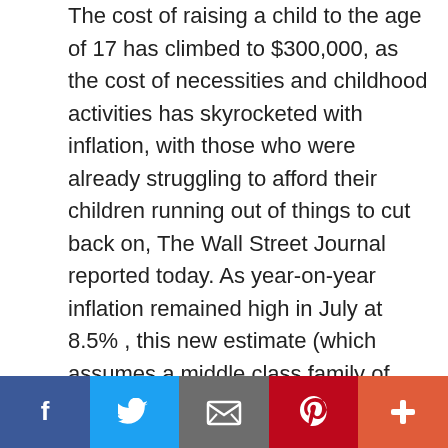The cost of raising a child to the age of 17 has climbed to $300,000, as the cost of necessities and childhood activities has skyrocketed with inflation, with those who were already struggling to afford their children running out of things to cut back on, The Wall Street Journal reported today. As year-on-year inflation remained high in July at 8.5% , this new estimate (which assumes a middle class family of four with the youngest child born in 2015) is approximately $26,000, or 9%, more than previous calculations that assumed inflation rates from two years ago would stay consistent, the WSJ reported . Rising costs disproportionately impact those who are already poor, particularly single parents earning
[Figure (infographic): Social media sharing bar at bottom with five buttons: Facebook (dark blue), Twitter (blue), Email/envelope (gray), Pinterest (red), and More/plus (orange-red)]